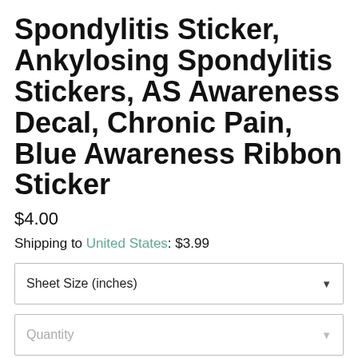Spondylitis Sticker, Ankylosing Spondylitis Stickers, AS Awareness Decal, Chronic Pain, Blue Awareness Ribbon Sticker
$4.00
Shipping to United States: $3.99
Sheet Size (inches)
Quantity
ADD TO CART